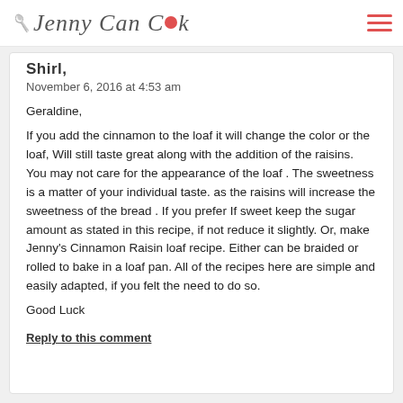Jenny Can Cook
Shirl,
November 6, 2016 at 4:53 am
Geraldine,
If you add the cinnamon to the loaf it will change the color or the loaf, Will still taste great along with the addition of the raisins. You may not care for the appearance of the loaf . The sweetness is a matter of your individual taste. as the raisins will increase the sweetness of the bread . If you prefer If sweet keep the sugar amount as stated in this recipe, if not reduce it slightly. Or, make Jenny's Cinnamon Raisin loaf recipe. Either can be braided or rolled to bake in a loaf pan. All of the recipes here are simple and easily adapted, if you felt the need to do so.
Good Luck
Reply to this comment